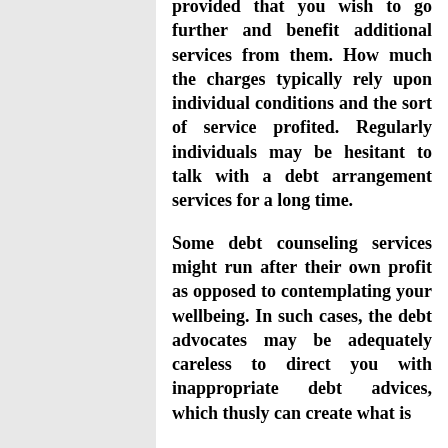provided that you wish to go further and benefit additional services from them. How much the charges typically rely upon individual conditions and the sort of service profited. Regularly individuals may be hesitant to talk with a debt arrangement services for a long time.
Some debt counseling services might run after their own profit as opposed to contemplating your wellbeing. In such cases, the debt advocates may be adequately careless to direct you with inappropriate debt advices, which thusly can create what is